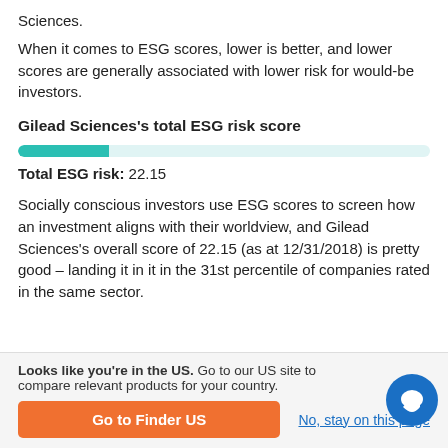Sciences.
When it comes to ESG scores, lower is better, and lower scores are generally associated with lower risk for would-be investors.
Gilead Sciences's total ESG risk score
[Figure (bar-chart): Total ESG risk score bar]
Total ESG risk: 22.15
Socially conscious investors use ESG scores to screen how an investment aligns with their worldview, and Gilead Sciences's overall score of 22.15 (as at 12/31/2018) is pretty good – landing it in it in the 31st percentile of companies rated in the same sector.
Looks like you're in the US. Go to our US site to compare relevant products for your country. Go to Finder US | No, stay on this page